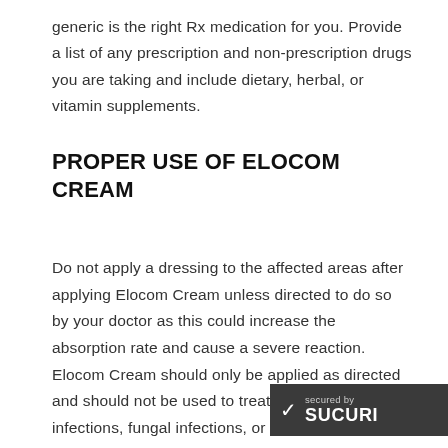generic is the right Rx medication for you. Provide a list of any prescription and non-prescription drugs you are taking and include dietary, herbal, or vitamin supplements.
PROPER USE OF ELOCOM CREAM
Do not apply a dressing to the affected areas after applying Elocom Cream unless directed to do so by your doctor as this could increase the absorption rate and cause a severe reaction. Elocom Cream should only be applied as directed and should not be used to treat bacterial skin infections, fungal infections, or viral skin infections. Do not apply on young children without consulting your doctor first a considered a mid-strength potency.